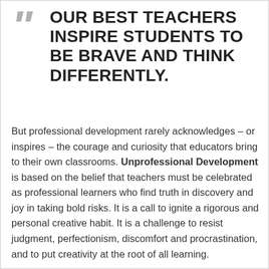OUR BEST TEACHERS INSPIRE STUDENTS TO BE BRAVE AND THINK DIFFERENTLY.
But professional development rarely acknowledges – or inspires – the courage and curiosity that educators bring to their own classrooms. Unprofessional Development is based on the belief that teachers must be celebrated as professional learners who find truth in discovery and joy in taking bold risks. It is a call to ignite a rigorous and personal creative habit. It is a challenge to resist judgment, perfectionism, discomfort and procrastination, and to put creativity at the root of all learning.